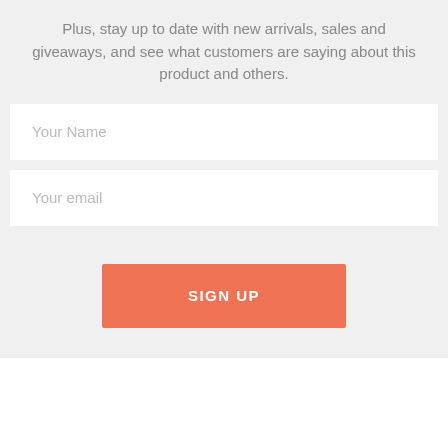Plus, stay up to date with new arrivals, sales and giveaways, and see what customers are saying about this product and others.
[Figure (other): A signup form with two input fields labeled 'Your Name' and 'Your email', and a coral/orange 'SIGN UP' button below.]